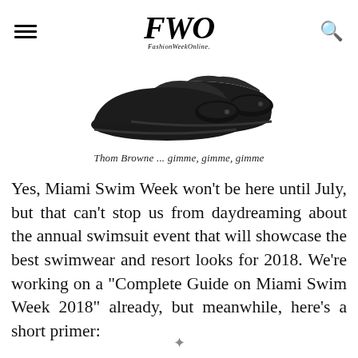FWO FashionWeekOnline
[Figure (photo): Photo of black dress shoes (Thom Browne), two shoes shown from a diagonal angle, on a white background]
Thom Browne ... gimme, gimme, gimme
Yes, Miami Swim Week won’t be here until July, but that can’t stop us from daydreaming about the annual swimsuit event that will showcase the best swimwear and resort looks for 2018. We’re working on a “Complete Guide on Miami Swim Week 2018” already, but meanwhile, here’s a short primer: